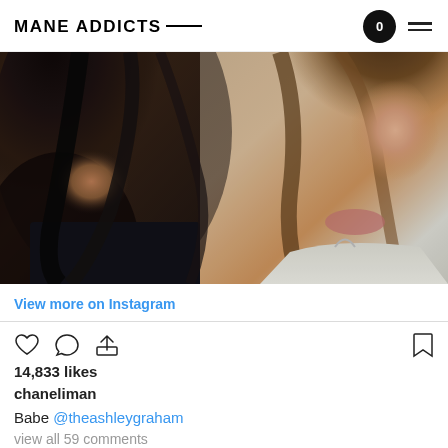MANE ADDICTS
[Figure (photo): Close-up selfie of two women with long dark hair; left woman wearing dark top, right woman wearing light gray top]
View more on Instagram
14,833 likes
chaneliman
Babe @theashleygraham
view all 59 comments